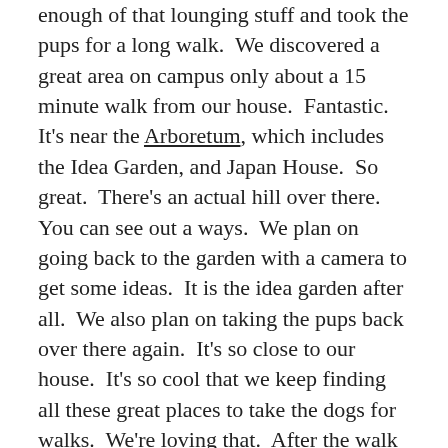enough of that lounging stuff and took the pups for a long walk.  We discovered a great area on campus only about a 15 minute walk from our house.  Fantastic.  It's near the Arboretum, which includes the Idea Garden, and Japan House.  So great.  There's an actual hill over there.  You can see out a ways.  We plan on going back to the garden with a camera to get some ideas.  It is the idea garden after all.  We also plan on taking the pups back over there again.  It's so close to our house.  It's so cool that we keep finding all these great places to take the dogs for walks.  We're loving that.  After the walk we met up with Ann, one of our new friends here in Illinois, and drove out to Hardy's Reindeer Ranch where we met other peeps and then all did the corn maze.  We ended up splitting into two groups and raced each other.  Texting the other group with things like... Number 5!  There were eight punch stations to get in the maze and we were racing to see which group could get them all first.  We